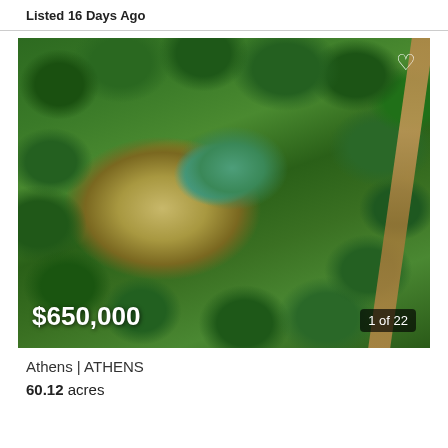Listed 16 Days Ago
[Figure (photo): Aerial drone photo of a wooded rural property with a small pond/lake visible in the center, open golden-brown cleared area, dense green tree canopy surrounding, and a dirt road visible along the right edge. Price overlay shows $650,000 and image counter shows 1 of 22.]
Athens | ATHENS
60.12 acres